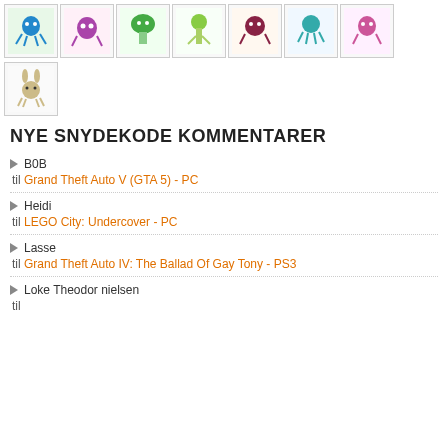[Figure (illustration): Grid of 8 small thumbnail images showing colorful cartoon monster/creature drawings on white backgrounds with borders]
NYE SNYDEKODE KOMMENTARER
B0B
til Grand Theft Auto V (GTA 5) - PC
Heidi
til LEGO City: Undercover - PC
Lasse
til Grand Theft Auto IV: The Ballad Of Gay Tony - PS3
Loke Theodor nielsen
til